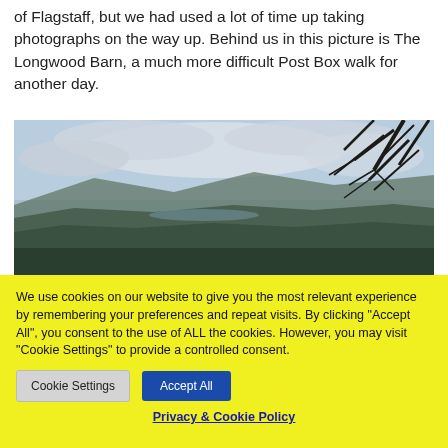of Flagstaff, but we had used a lot of time up taking photographs on the way up. Behind us in this picture is The Longwood Barn, a much more difficult Post Box walk for another day.
[Figure (photo): Landscape photograph showing a panoramic view of mountains and valleys with a partly cloudy sky, with pine tree branches visible in the upper right corner.]
We use cookies on our website to give you the most relevant experience by remembering your preferences and repeat visits. By clicking "Accept All", you consent to the use of ALL the cookies. However, you may visit "Cookie Settings" to provide a controlled consent.
Cookie Settings | Accept All
Privacy & Cookie Policy